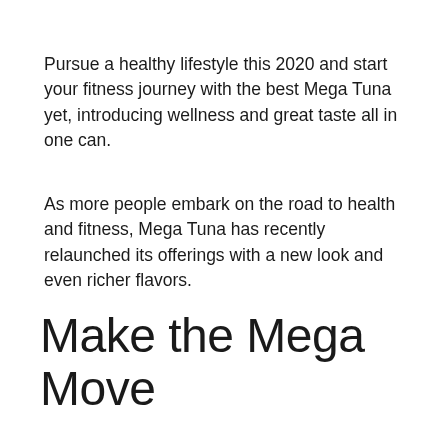Pursue a healthy lifestyle this 2020 and start your fitness journey with the best Mega Tuna yet, introducing wellness and great taste all in one can.
As more people embark on the road to health and fitness, Mega Tuna has recently relaunched its offerings with a new look and even richer flavors.
Make the Mega Move